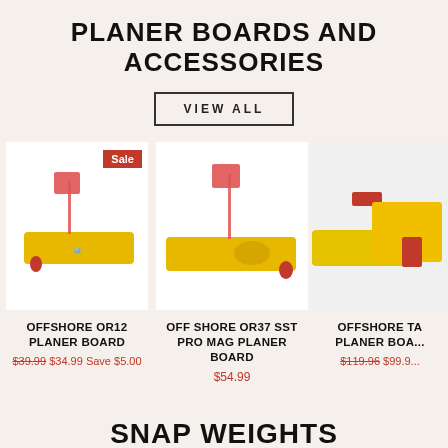PLANER BOARDS AND ACCESSORIES
VIEW ALL
[Figure (photo): Yellow Offshore OR12 Planer Board with red flag and red clip, Sale badge visible]
OFFSHORE OR12 PLANER BOARD
$39.99 $34.99 Save $5.00
[Figure (photo): Yellow Off Shore OR37 SST Pro Mag Planer Board with red flag and red clip]
OFF SHORE OR37 SST PRO MAG PLANER BOARD
$54.99
[Figure (photo): Partial view of Offshore TA Planer Board with yellow and red elements]
OFFSHORE TA PLANER BOA...
$119.96 $99.9...
SNAP WEIGHTS